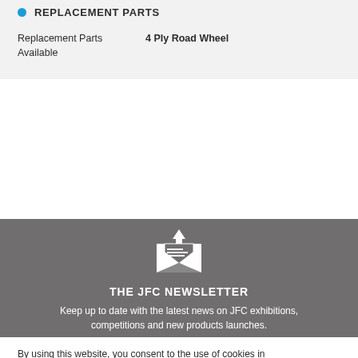REPLACEMENT PARTS
Replacement Parts Available	4 Ply Road Wheel
[Figure (illustration): White envelope with newsletter/document icon on grey background]
THE JFC NEWSLETTER
Keep up to date with the latest news on JFC exhibitions, competitions and new products launches.
By using this website, you consent to the use of cookies in